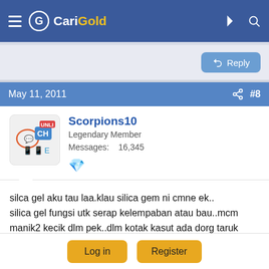CariGold
Reply
May 11, 2011  #8
Scorpions10
Legendary Member
Messages: 16,345
silca gel aku tau laa.klau silica gem ni cmne ek..
silica gel fungsi utk serap kelempaban atau bau..mcm manik2 kecik dlm pek..dlm kotak kasut ada dorg taruk benda nih.klau yg tu aku tau la.tq
Log in
Register